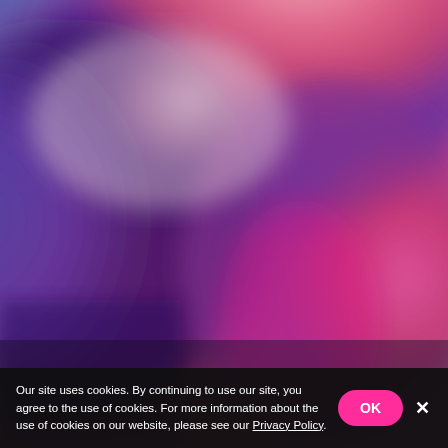[Figure (photo): Blurred abstract photo with swirling pink, magenta, purple, and blue tones resembling smoke, fog, or a pixelated atmospheric scene. Upper area has lighter pinkish-white tones transitioning to deeper purples and blues in the lower portions.]
Our site uses cookies. By continuing to use our site, you agree to the use of cookies. For more information about the use of cookies on our website, please see our Privacy Policy.